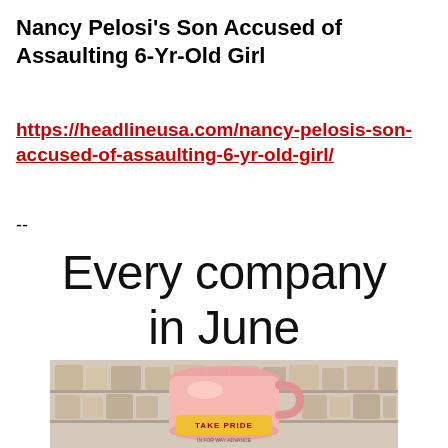Nancy Pelosi's Son Accused of Assaulting 6-Yr-Old Girl
https://headlineusa.com/nancy-pelosis-son-accused-of-assaulting-6-yr-old-girl/
--
Every company in June
[Figure (photo): Photo of a product on a store shelf with 'TAKE PRIDE' text visible on packaging, surrounded by other products on shelves]